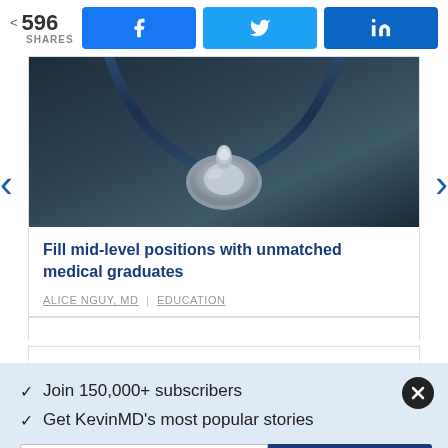596 SHARES
[Figure (screenshot): Social share buttons: Facebook (blue), Twitter (light blue), LinkedIn (blue)]
[Figure (photo): Stethoscope resting on a dark surface, close-up photo]
Fill mid-level positions with unmatched medical graduates
ALICE NGUY, MD | EDUCATION
✓  Join 150,000+ subscribers
✓  Get KevinMD's most popular stories
Email
Subscribe. It's free.